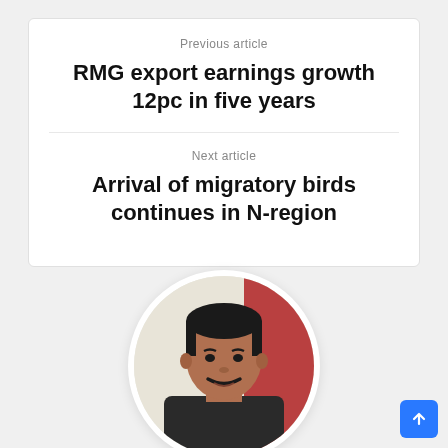Previous article
RMG export earnings growth 12pc in five years
Next article
Arrival of migratory birds continues in N-region
[Figure (photo): Circular profile photo of a man with short dark hair and a moustache, wearing a dark shirt, with a reddish background]